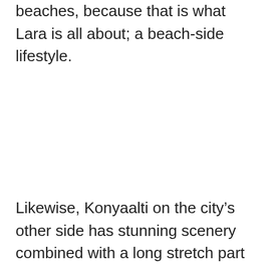beaches, because that is what Lara is all about; a beach-side lifestyle.
Likewise, Konyaalti on the city's other side has stunning scenery combined with a long stretch part sand/part stone beach. When it comes to